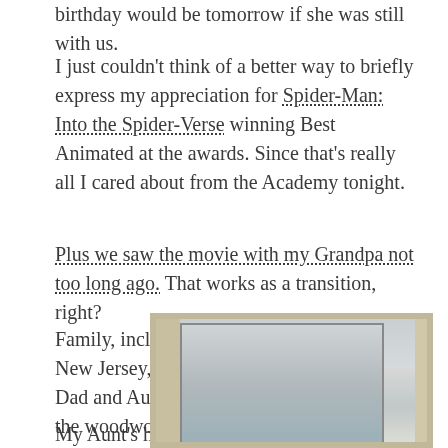birthday would be tomorrow if she was still with us.
I just couldn't think of a better way to briefly express my appreciation for Spider-Man: Into the Spider-Verse winning Best Animated at the awards. Since that's really all I cared about from the Academy tonight.
Plus we saw the movie with my Grandpa not too long ago. That works as a transition, right?
Family, including my great-cousins out from New Jersey, as well as friends on both my Dad and Aunt Mindy's Rolodex came out of the woodwork to help us celebrate.
My Aunt's house was absolutely packed with people:
[Figure (photo): Interior photo of a house showing a doorway/hallway with ceiling light visible, beige walls and trim.]